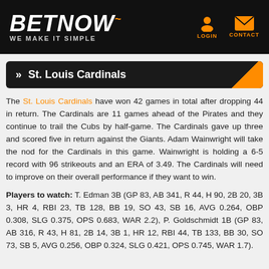BETNOW — WE MAKE IT SIMPLE
» St. Louis Cardinals
The St. Louis Cardinals have won 42 games in total after dropping 44 in return. The Cardinals are 11 games ahead of the Pirates and they continue to trail the Cubs by half-game. The Cardinals gave up three and scored five in return against the Giants. Adam Wainwright will take the nod for the Cardinals in this game. Wainwright is holding a 6-5 record with 96 strikeouts and an ERA of 3.49. The Cardinals will need to improve on their overall performance if they want to win.
Players to watch: T. Edman 3B (GP 83, AB 341, R 44, H 90, 2B 20, 3B 3, HR 4, RBI 23, TB 128, BB 19, SO 43, SB 16, AVG 0.264, OBP 0.308, SLG 0.375, OPS 0.683, WAR 2.2), P. Goldschmidt 1B (GP 83, AB 316, R 43, H 81, 2B 14, 3B 1, HR 12, RBI 44, TB 133, BB 30, SO 73, SB 5, AVG 0.256, OBP 0.324, SLG 0.421, OPS 0.745, WAR 1.7).